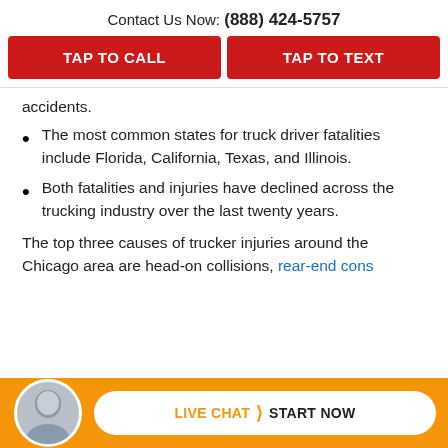Contact Us Now: (888) 424-5757
TAP TO CALL
TAP TO TEXT
accidents.
The most common states for truck driver fatalities include Florida, California, Texas, and Illinois.
Both fatalities and injuries have declined across the trucking industry over the last twenty years.
The top three causes of trucker injuries around the Chicago area are head-on collisions, rear-end c...ons
LIVE CHAT › START NOW